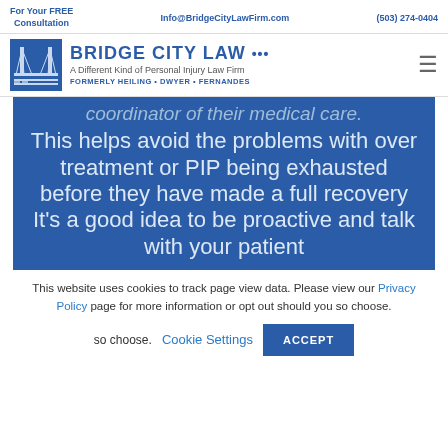For Your FREE Consultation | Info@BridgeCityLawFirm.com | (503) 274-0404
[Figure (logo): Bridge City Law logo with bridge icon. Text: BRIDGE CITY LAW ... A Different Kind of Personal Injury Law Firm. FORMERLY HEILING • DWYER • FERNANDES]
coordinator of their medical care. This helps avoid the problems with over treatment or PIP being exhausted before they have made a full recovery It's a good idea to be proactive and talk with your patient
This website uses cookies to track page view data. Please view our Privacy Policy page for more information or opt out should you so choose.
Cookie Settings  ACCEPT